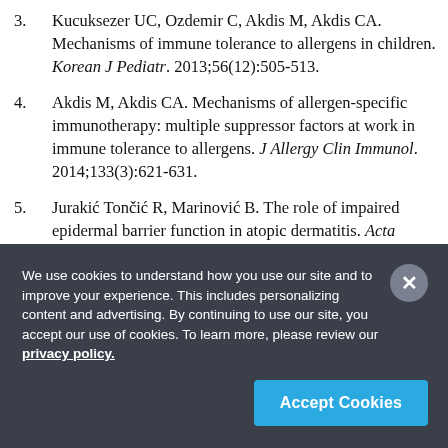Kucuksezer UC, Ozdemir C, Akdis M, Akdis CA. Mechanisms of immune tolerance to allergens in children. Korean J Pediatr. 2013;56(12):505-513.
Akdis M, Akdis CA. Mechanisms of allergen-specific immunotherapy: multiple suppressor factors at work in immune tolerance to allergens. J Allergy Clin Immunol. 2014;133(3):621-631.
Jurakić Tončić R, Marinović B. The role of impaired epidermal barrier function in atopic dermatitis. Acta Dermatovenerol Croat. 2016;24(2):95-109.
We use cookies to understand how you use our site and to improve your experience. This includes personalizing content and advertising. By continuing to use our site, you accept our use of cookies. To learn more, please review our privacy policy.